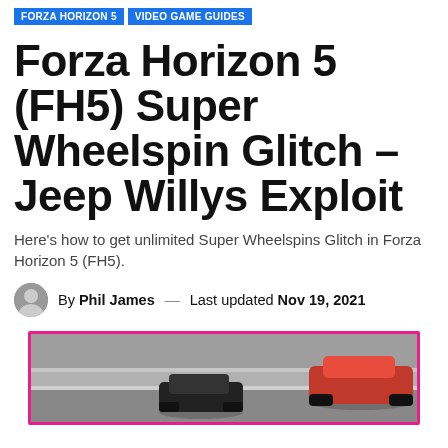FORZA HORIZON 5 | VIDEO GAME GUIDES
Forza Horizon 5 (FH5) Super Wheelspin Glitch – Jeep Willys Exploit
Here's how to get unlimited Super Wheelspins Glitch in Forza Horizon 5 (FH5).
By Phil James — Last updated Nov 19, 2021
[Figure (photo): Screenshot from Forza Horizon 5 showing cars on a race track, framed with a bright pink/magenta border. A red sports car is visible on the right side.]